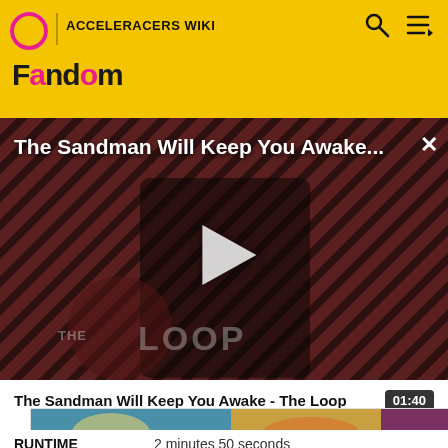ACCELERACERS WIKI
[Figure (screenshot): Video player thumbnail showing The Sandman character in black cloak against dark diagonal striped background with THE LOOP watermark and play button overlay]
The Sandman Will Keep You Awake...
The Sandman Will Keep You Awake - The Loop  01:40
[Figure (screenshot): Thumbnail preview strip of a related video]
RUNTIME  2 minutes 50 seconds